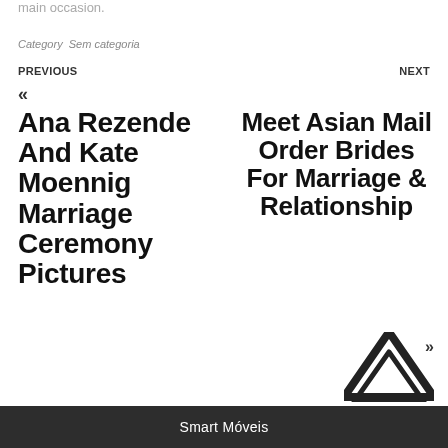main occasion.
Category  Sem categoria
PREVIOUS
NEXT
«
Ana Rezende And Kate Moennig Marriage Ceremony Pictures
Meet Asian Mail Order Brides For Marriage & Relationship
»
Smart Móveis